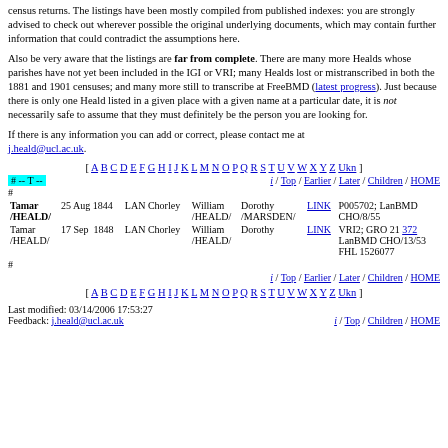census returns. The listings have been mostly compiled from published indexes: you are strongly advised to check out wherever possible the original underlying documents, which may contain further information that could contradict the assumptions here.
Also be very aware that the listings are far from complete. There are many more Healds whose parishes have not yet been included in the IGI or VRI; many Healds lost or mistranscribed in both the 1881 and 1901 censuses; and many more still to transcribe at FreeBMD (latest progress). Just because there is only one Heald listed in a given place with a given name at a particular date, it is not necessarily safe to assume that they must definitely be the person you are looking for.
If there is any information you can add or correct, please contact me at j.heald@ucl.ac.uk.
[ A B C D E F G H I J K L M N O P Q R S T U V W X Y Z Ukn ]
# -- T -- | i / Top / Earlier / Later / Children / HOME
| Name | Date | County/Place | Father | Mother | Link | Notes |
| --- | --- | --- | --- | --- | --- | --- |
| Tamar /HEALD/ | 25 Aug 1844 | LAN Chorley | William /HEALD/ | Dorothy /MARSDEN/ | LINK | P005702; LanBMD CHO/8/55 |
| Tamar /HEALD/ | 17 Sep 1848 | LAN Chorley | William /HEALD/ | Dorothy | LINK | VRI2; GRO 21 372 LanBMD CHO/13/53 FHL 1526077 |
i / Top / Earlier / Later / Children / HOME
[ A B C D E F G H I J K L M N O P Q R S T U V W X Y Z Ukn ]
Last modified: 03/14/2006 17:53:27
Feedback: j.heald@ucl.ac.uk
i / Top / Children / HOME